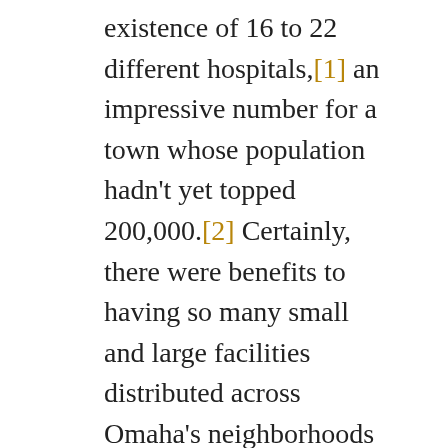existence of 16 to 22 different hospitals,[1] an impressive number for a town whose population hadn't yet topped 200,000.[2] Certainly, there were benefits to having so many small and large facilities distributed across Omaha's neighborhoods (but still largely centralized in the Midtown and Downtown areas), but many local physicians and other healthcare professionals had a desire to form an association (the Medical Arts Association), and by 1919, property had been purchased at 17th and Dodge Street, and well-known local architects—Thomas Kimball and John and Alan McDonald—had been hired to furnish designs for a 17-story mixed-use structure.
Despite local enthusiasm, construction was